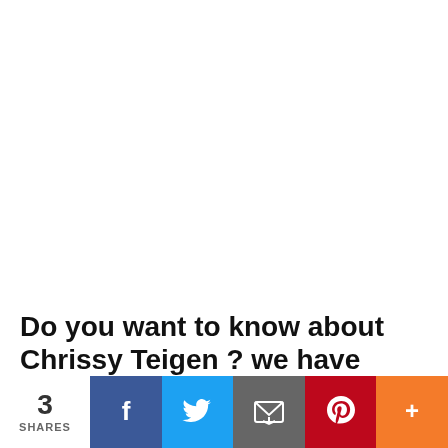[Figure (other): White blank advertisement area]
Do you want to know about Chrissy Teigen ? we have done a research about Chrissy Teigen net worth in 2022, parents, husband,
3 SHARES